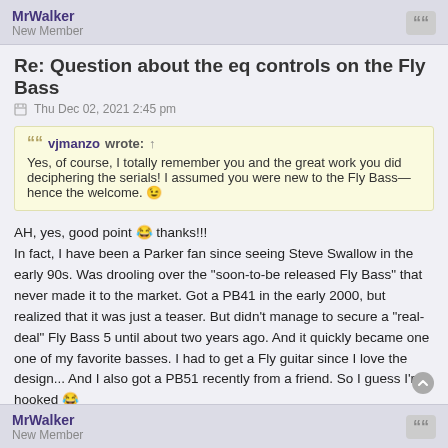MrWalker
New Member
Re: Question about the eq controls on the Fly Bass
Thu Dec 02, 2021 2:45 pm
vjmanzo wrote: ↑
Yes, of course, I totally remember you and the great work you did deciphering the serials! I assumed you were new to the Fly Bass—hence the welcome. 😉
AH, yes, good point 😂 thanks!!!
In fact, I have been a Parker fan since seeing Steve Swallow in the early 90s. Was drooling over the "soon-to-be released Fly Bass" that never made it to the market. Got a PB41 in the early 2000, but realized that it was just a teaser. But didn't manage to secure a "real-deal" Fly Bass 5 until about two years ago. And it quickly became one one of my favorite basses. I had to get a Fly guitar since I love the design... And I also got a PB51 recently from a friend. So I guess I'm hooked 😂
MrWalker
New Member